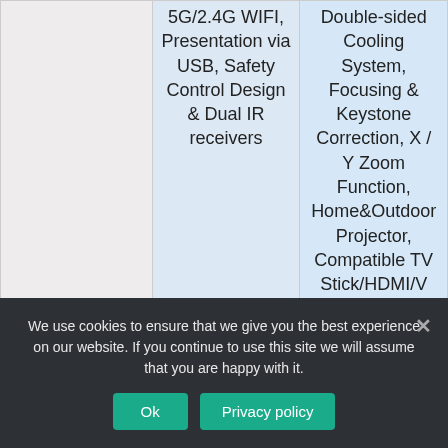|  |  |  |
| --- | --- | --- |
|  | 5G/2.4G WIFI, Presentation via USB, Safety Control Design & Dual IR receivers | Double-sided Cooling System, Focusing & Keystone Correction, X / Y Zoom Function, Home&Outdoor Projector, Compatible TV Stick/HDMI/V |
We use cookies to ensure that we give you the best experience on our website. If you continue to use this site we will assume that you are happy with it.